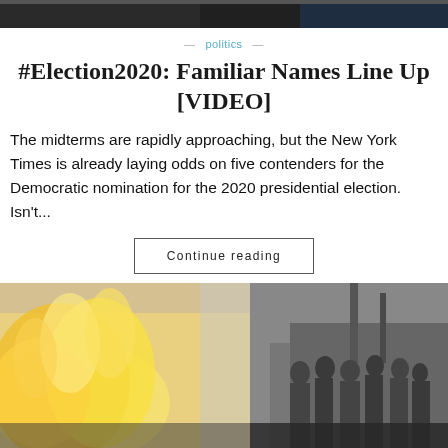[Figure (photo): Top partial photo showing people, cropped at top of page]
— politics —
#Election2020: Familiar Names Line Up [VIDEO]
The midterms are rapidly approaching, but the New York Times is already laying odds on five contenders for the Democratic nomination for the 2020 presidential election. Isn't...
Continue reading
[Figure (photo): Bottom photo showing fire and a crowd of people in black and white on the right side]